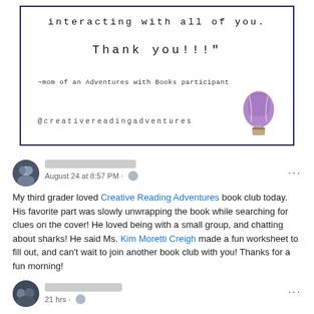[Figure (screenshot): Quoted testimonial card with decorative border and hot air balloon illustration. Text reads: 'interacting with all of you. Thank you!!!' attributed to ~mom of an Adventures with Books participant, with @creativereadingadventures handle.]
[Figure (screenshot): Facebook social media post from August 24 at 8:57 PM. Avatar shows two people. Name is blurred. Post reads: 'My third grader loved Creative Reading Adventures book club today. His favorite part was slowly unwrapping the book while searching for clues on the cover! He loved being with a small group, and chatting about sharks! He said Ms. Kim Moretti Creigh made a fun worksheet to fill out, and can't wait to join another book club with you! Thanks for a fun morning!']
[Figure (screenshot): Partial Facebook post footer showing avatar of a group of people, blurred name, '21 hrs' timestamp, and three-dot menu.]